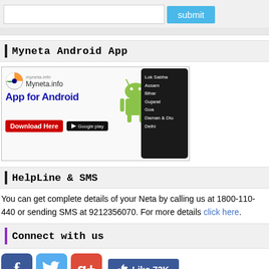[Figure (screenshot): Search bar with text input and blue submit button, followed by gray bar]
Myneta Android App
[Figure (illustration): Myneta.info App for Android promotional banner with Android robot, tablet showing Lok Sabha, Assam, Bihar, Gujarat, Goa, Daman & Diu, Delhi, Download Here button and Google Play button]
HelpLine & SMS
You can get complete details of your Neta by calling us at 1800-110-440 or sending SMS at 9212356070. For more details click here.
Connect with us
[Figure (screenshot): Social media icons: Facebook, Twitter, Google Plus, and Like 73K button]
For news alert,enter your email id
[Figure (screenshot): Email subscription input box with placeholder 'email-id to subscribe' and Join button]